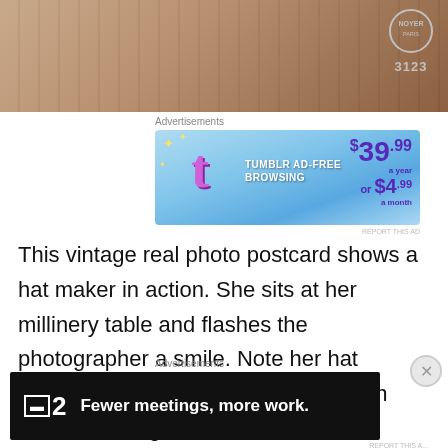[Figure (photo): Top portion of a vintage real photo postcard showing a wooden surface with grain texture. An Alfred Noyer publisher badge/logo appears in the top right corner with the number 3123.]
Advertisements
[Figure (screenshot): Tumblr AD-FREE BROWSING advertisement banner. Blue gradient background with Tumblr 't' logo. Price shown: $39.99 a year or $4.99 a month.]
This vintage real photo postcard shows a hat maker in action. She sits at her millinery table and flashes the photographer a smile. Note her hat making supplies on the table. You can also see a large hat box beneath the table. This postcard was published by Alfred Noyer
Advertisements
[Figure (screenshot): F2 - Fewer meetings, more work. Dark/black advertisement banner.]